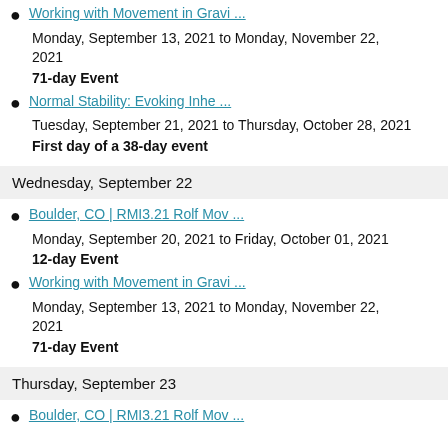Working with Movement in Gravi ...
Monday, September 13, 2021 to Monday, November 22, 2021
71-day Event
Normal Stability: Evoking Inhe ...
Tuesday, September 21, 2021 to Thursday, October 28, 2021
First day of a 38-day event
Wednesday, September 22
Boulder, CO | RMI3.21 Rolf Mov ...
Monday, September 20, 2021 to Friday, October 01, 2021
12-day Event
Working with Movement in Gravi ...
Monday, September 13, 2021 to Monday, November 22, 2021
71-day Event
Thursday, September 23
Boulder, CO | RMI3.21 Rolf Mov ...